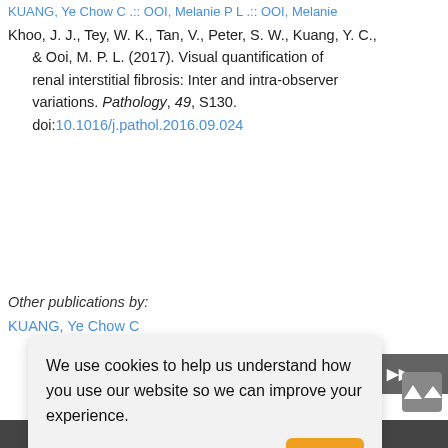KUANG, Ye Chow C .:: OOI, Melanie P L .:: OOI, Melanie
Khoo, J. J., Tey, W. K., Tan, V., Peter, S. W., Kuang, Y. C., & Ooi, M. P. L. (2017). Visual quantification of renal interstitial fibrosis: Inter and intra-observer variations. Pathology, 49, S130. doi:10.1016/j.pathol.2016.09.024
Other publications by:
KUANG, Ye Chow C
We use cookies to help us understand how you use our website so we can improve your experience. Learn more
ent Research Theses |